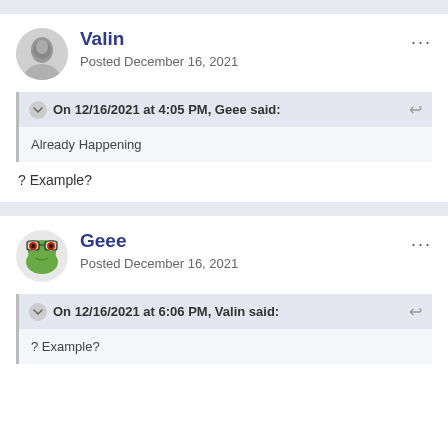Valin
Posted December 16, 2021
On 12/16/2021 at 4:05 PM, Geee said:
Already Happening
? Example?
Geee
Posted December 16, 2021
On 12/16/2021 at 6:06 PM, Valin said:
? Example?